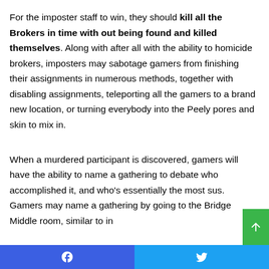For the imposter staff to win, they should kill all the Brokers in time with out being found and killed themselves. Along with after all with the ability to homicide brokers, imposters may sabotage gamers from finishing their assignments in numerous methods, together with disabling assignments, teleporting all the gamers to a brand new location, or turning everybody into the Peely pores and skin to mix in.
When a murdered participant is discovered, gamers will have the ability to name a gathering to debate who accomplished it, and who's essentially the most sus. Gamers may name a gathering by going to the Bridge Middle room, similar to in Among Us. On the finish of a rec...
Facebook | Twitter